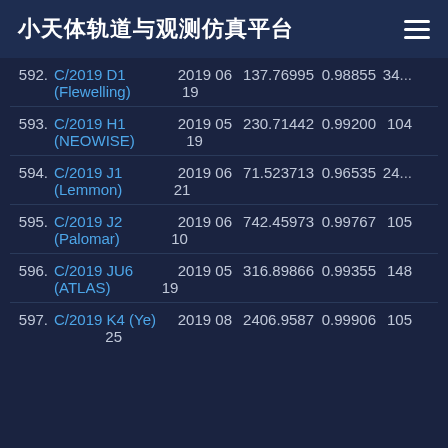小天体轨道与观测仿真平台
592. C/2019 D1 (Flewelling) 2019 06 19 137.76995 0.98855 34...
593. C/2019 H1 (NEOWISE) 2019 05 19 230.71442 0.99200 104
594. C/2019 J1 (Lemmon) 2019 06 21 71.523713 0.96535 24...
595. C/2019 J2 (Palomar) 2019 06 10 742.45973 0.99767 105
596. C/2019 JU6 (ATLAS) 2019 05 19 316.89866 0.99355 148
597. C/2019 K4 (Ye) 2019 08 25 2406.9587 0.99906 105